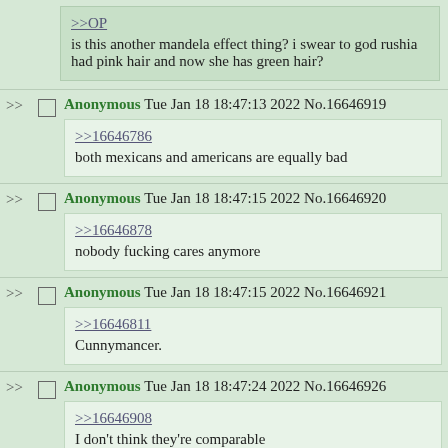>>OP
is this another mandela effect thing? i swear to god rushia had pink hair and now she has green hair?
Anonymous Tue Jan 18 18:47:13 2022 No.16646919
>>16646786
both mexicans and americans are equally bad
Anonymous Tue Jan 18 18:47:15 2022 No.16646920
>>16646878
nobody fucking cares anymore
Anonymous Tue Jan 18 18:47:15 2022 No.16646921
>>16646811
Cunnymancer.
Anonymous Tue Jan 18 18:47:24 2022 No.16646926
>>16646908
I don't think they're comparable